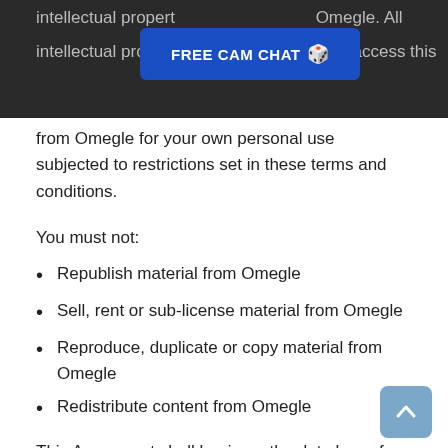[Figure (screenshot): Blue 'FREE CAM CHAT' advertisement button overlaid on dark banner at top of page, with partially visible legal text behind it]
from Omegle for your own personal use subjected to restrictions set in these terms and conditions.
You must not:
Republish material from Omegle
Sell, rent or sub-license material from Omegle
Reproduce, duplicate or copy material from Omegle
Redistribute content from Omegle
This Agreement shall begin on the date hereof.
Parts of this website offer an opportunity for users to post and exchange opinions and information in certain areas of the